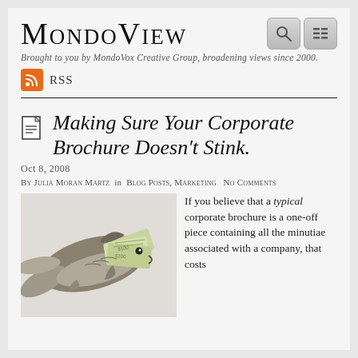MondoView
Brought to you by MondoVox Creative Group, broadening views since 2000.
RSS
Making Sure Your Corporate Brochure Doesn't Stink.
Oct 8, 2008
By Julia Moran Martz in Blog Posts, Marketing No Comments
[Figure (photo): A fish with money (dollar bills) stuffed in its mouth, on a white background — illustrating the blog post about corporate brochures.]
If you believe that a typical corporate brochure is a one-off piece containing all the minutiae associated with a company, that costs